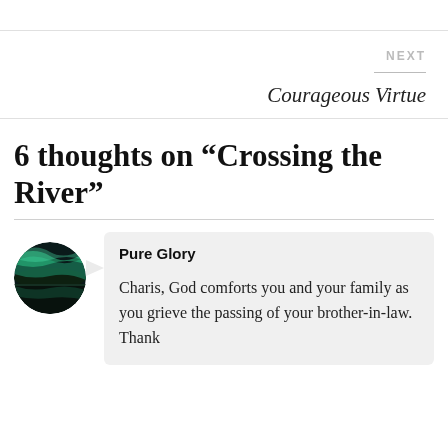NEXT
Courageous Virtue
6 thoughts on “Crossing the River”
[Figure (photo): Circular avatar image showing a green aurora borealis reflected on a dark lake]
Pure Glory
Charis, God comforts you and your family as you grieve the passing of your brother-in-law. Thank